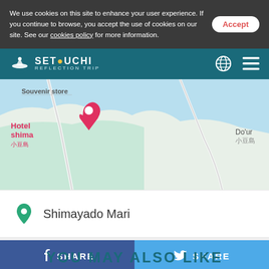We use cookies on this site to enhance your user experience. If you continue to browse, you accept the use of cookies on our site. See our cookies policy for more information.
SETOUCHI REFLECTION TRIP
[Figure (map): Google Maps partial view showing Hotel shima (小豆島) location marker and Do'ur (小豆島) label, with coastal area and roads visible]
Shimayado Mari
f SHARE
SHARE
YOU MAY ALSO LIKE